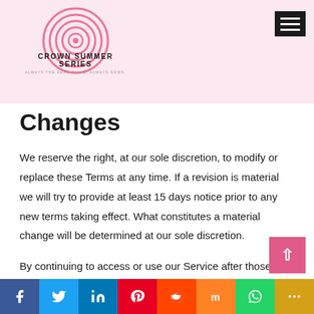[Figure (logo): Crown Summer Series logo: concentric pink circles with text 'CROWN SUMMER SERIES' and tagline 'ALWAYS THE REAL THING, ALWAYS NEWS.']
Changes
We reserve the right, at our sole discretion, to modify or replace these Terms at any time. If a revision is material we will try to provide at least 15 days notice prior to any new terms taking effect. What constitutes a material change will be determined at our sole discretion.
By continuing to access or use our Service after those revisions become effective, you agree to be bound by the revised terms. If you do not agree to the new terms, please stop using the Service